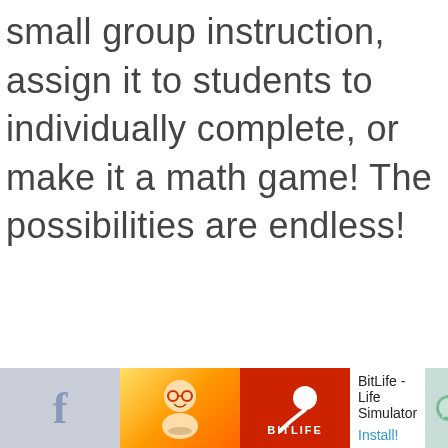small group instruction, assign it to students to individually complete, or make it a math game! The possibilities are endless!
[Figure (screenshot): Advertisement banner at the bottom of the page showing a BitLife - Life Simulator app ad with Facebook tab on the left, animated character, red BitLife logo section, app name and Install button, and a teal tab on the right.]